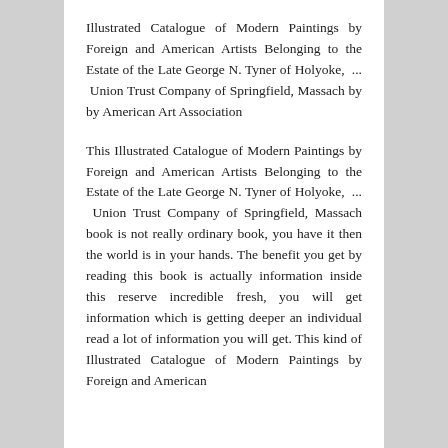Illustrated Catalogue of Modern Paintings by Foreign and American Artists Belonging to the Estate of the Late George N. Tyner of Holyoke, ... Union Trust Company of Springfield, Massach by by American Art Association
This Illustrated Catalogue of Modern Paintings by Foreign and American Artists Belonging to the Estate of the Late George N. Tyner of Holyoke, ... Union Trust Company of Springfield, Massach book is not really ordinary book, you have it then the world is in your hands. The benefit you get by reading this book is actually information inside this reserve incredible fresh, you will get information which is getting deeper an individual read a lot of information you will get. This kind of Illustrated Catalogue of Modern Paintings by Foreign and American...